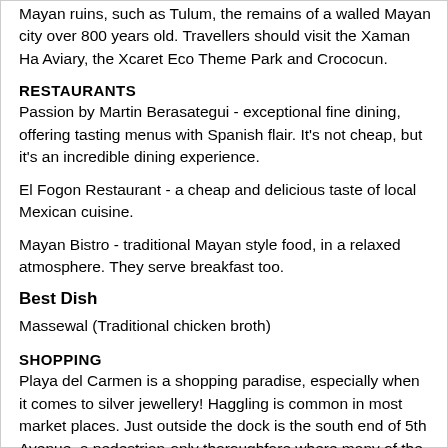Mayan ruins, such as Tulum, the remains of a walled Mayan city over 800 years old. Travellers should visit the Xaman Ha Aviary, the Xcaret Eco Theme Park and Crococun.
RESTAURANTS
Passion by Martin Berasategui - exceptional fine dining, offering tasting menus with Spanish flair. It's not cheap, but it's an incredible dining experience.
El Fogon Restaurant - a cheap and delicious taste of local Mexican cuisine.
Mayan Bistro - traditional Mayan style food, in a relaxed atmosphere. They serve breakfast too.
Best Dish
Massewal (Traditional chicken broth)
SHOPPING
Playa del Carmen is a shopping paradise, especially when it comes to silver jewellery! Haggling is common in most market places. Just outside the dock is the south end of 5th Avenue, a pedestrian-only thoroughfare where many of the town's shops and restaurants are located. The dock is next to Playa del Carmen's main square, where stalls selling cold drinks and slices of fresh tropical fruit can be